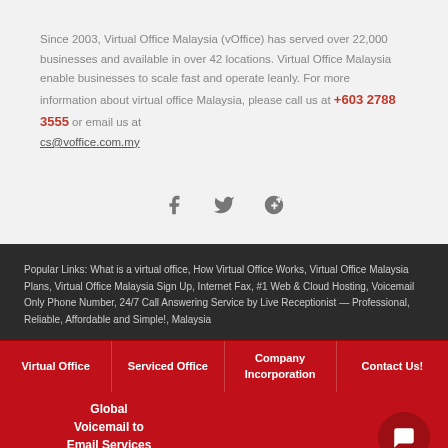Since 2003, Virtual Office Malaysia (vOffice) has served over 22,000 businesses and available in over 42 locations. Virtual Office Malaysia enable businesses to scale fast and operate leanly. For more information about virtual office Malaysia, please call us at +603 2788 3555 or email us at cs@voffice.com.my
[Figure (illustration): Three social media icons: Facebook (f), Twitter (bird), Google+ (g+) in gray]
Popular Links: What is a virtual office, How Virtual Office Works, Virtual Office Malaysia Plans, Virtual Office Malaysia Sign Up, Internet Fax, #1 Web & Cloud Hosting, Voicemail Only Phone Number, 24/7 Call Answering Service by Live Receptionist — Professional, Reliable, Affordable and Simple!, Malaysia
Virtual Office
Serviced Office
Company Incorporation
Contact Us!
Global Voicemail to Email Services